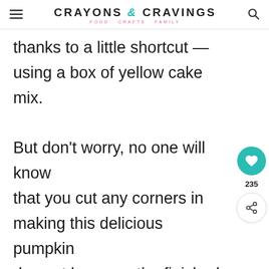CRAYONS & CRAVINGS — FOOD CRAFTS FAMILY
thanks to a little shortcut — using a box of yellow cake mix.
But don't worry, no one will know that you cut any corners in making this delicious pumpkin dessert because the finished product is amazing.
If you love pumpkin pie, yo going to go crazy for this
[Figure (infographic): Social share widget with heart icon (teal circle), count 235, and share icon]
[Figure (infographic): What's Next bar showing Pumpkin Jello Shots with thumbnail image of orange drink]